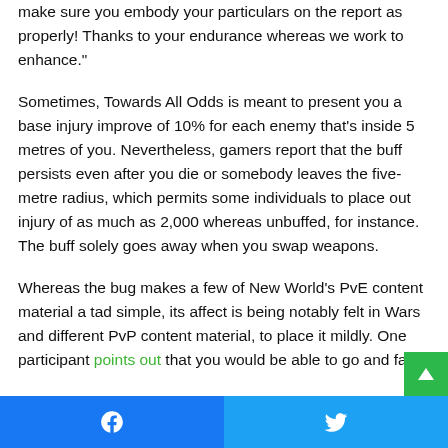make sure you embody your particulars on the report as properly! Thanks to your endurance whereas we work to enhance."
Sometimes, Towards All Odds is meant to present you a base injury improve of 10% for each enemy that's inside 5 metres of you. Nevertheless, gamers report that the buff persists even after you die or somebody leaves the five-metre radius, which permits some individuals to place out injury of as much as 2,000 whereas unbuffed, for instance. The buff solely goes away when you swap weapons.
Whereas the bug makes a few of New World's PvE content material a tad simple, its affect is being notably felt in Wars and different PvP content material, to place it mildly. One participant points out that you would be able to go and farm
Facebook share | Twitter share